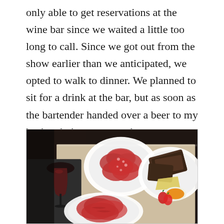only able to get reservations at the wine bar since we waited a little too long to call. Since we got out from the show earlier than we anticipated, we opted to walk to dinner. We planned to sit for a drink at the bar, but as soon as the bartender handed over a beer to my husband, they were ready to seat us.
[Figure (photo): A restaurant table with three white plates: one with thinly sliced salami arranged in a circular pattern, one with thinly sliced cured meat (prosciutto/coppa), and one with dark bread/crackers, cheese, and a small dish of orange jam/chutney with strawberries. A wine glass with red wine is visible on the left side.]